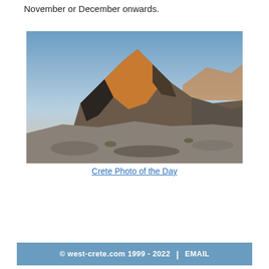November or December onwards.
[Figure (photo): Mountain peak with rocky terrain illuminated by warm golden sunlight at sunrise or sunset, clear blue sky above, rocky foreground landscape — Crete mountain scene.]
Crete Photo of the Day
© west-crete.com 1999 - 2022  |  EMAIL